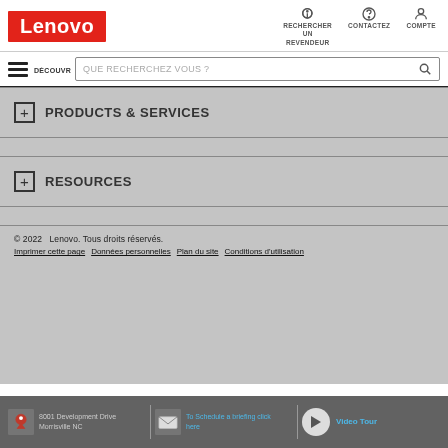[Figure (logo): Lenovo logo: white text on red background]
[Figure (infographic): Header icons: magnifying glass for RECHERCHER UN REVENDEUR, headset for CONTACTEZ, person for COMPTE]
[Figure (infographic): Hamburger menu icon and DÉCOUVRIR label, followed by search box with placeholder QUE RECHERCHEZ VOUS ? and magnifying glass icon]
PRODUCTS & SERVICES
RESOURCES
© 2022  Lenovo. Tous droits réservés.
Imprimer cette page  Données personnelles  Plan du site  Conditions d'utilisation
[Figure (infographic): Bottom banner with map icon and '8001 Development Drive Morrisville NC', envelope icon and 'To Schedule a briefing click here', play button and 'Video Tour']